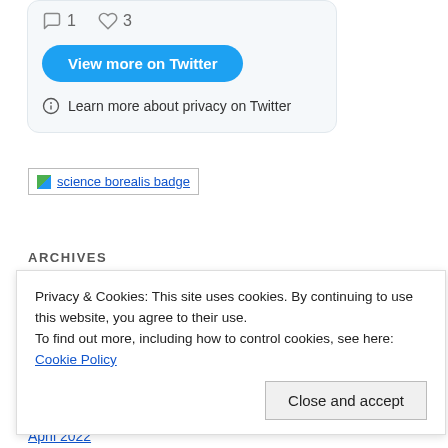[Figure (screenshot): Twitter widget showing tweet interaction icons (reply count 1, like count 3), a blue 'View more on Twitter' button, and a privacy info notice with an info icon and text 'Learn more about privacy on Twitter']
[Figure (logo): Science borealis badge — a small image placeholder with link text 'science borealis badge']
ARCHIVES
Privacy & Cookies: This site uses cookies. By continuing to use this website, you agree to their use. To find out more, including how to control cookies, see here: Cookie Policy
Close and accept
April 2022